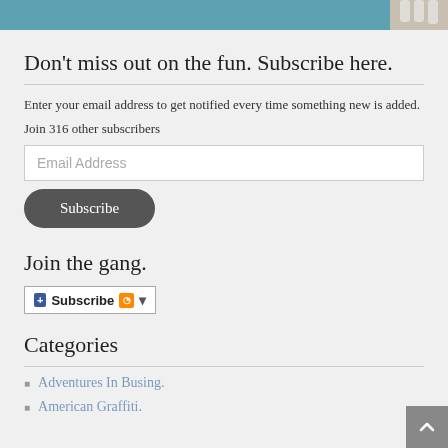[Figure (photo): Partial photo strip at top showing teal/blue background with a hand wearing white glove on the right]
Don't miss out on the fun. Subscribe here.
Enter your email address to get notified every time something new is added.
Join 316 other subscribers
Join the gang.
[Figure (infographic): Subscribe widget button with blue icon, RSS icon, and dropdown arrow]
Categories
Adventures In Busing.
American Graffiti.